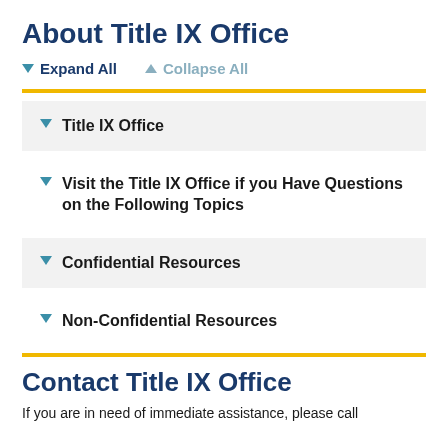About Title IX Office
▼ Expand All   ▲ Collapse All
Title IX Office
Visit the Title IX Office if you Have Questions on the Following Topics
Confidential Resources
Non-Confidential Resources
Contact Title IX Office
If you are in need of immediate assistance, please call